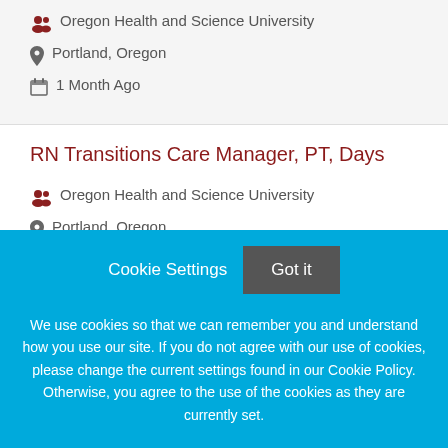Oregon Health and Science University • Portland, Oregon • 1 Month Ago
RN Transitions Care Manager, PT, Days
Oregon Health and Science University • Portland, Oregon • 1 Month Ago
Cookie Settings  Got it
We use cookies so that we can remember you and understand how you use our site. If you do not agree with our use of cookies, please change the current settings found in our Cookie Policy. Otherwise, you agree to the use of the cookies as they are currently set.